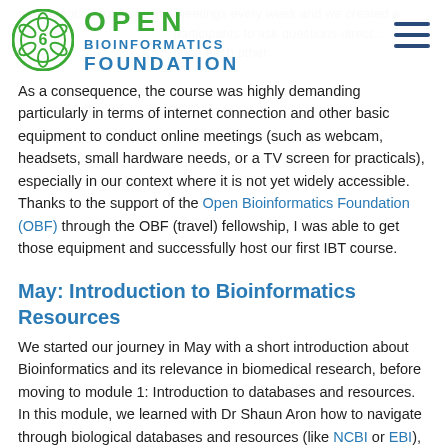OPEN BIOINFORMATICS FOUNDATION
participants through online meetings every week and we created a ... participants to ask questions direct... ange each other.
As a consequence, the course was highly demanding particularly in terms of internet connection and other basic equipment to conduct online meetings (such as webcam, headsets, small hardware needs, or a TV screen for practicals), especially in our context where it is not yet widely accessible. Thanks to the support of the Open Bioinformatics Foundation (OBF) through the OBF (travel) fellowship, I was able to get those equipment and successfully host our first IBT course.
May: Introduction to Bioinformatics Resources
We started our journey in May with a short introduction about Bioinformatics and its relevance in biomedical research, before moving to module 1: Introduction to databases and resources. In this module, we learned with Dr Shaun Aron how to navigate through biological databases and resources (like NCBI or EBI), perform basic protein and DNA analysis (sequence features, start sites, restrictions sites and so on), and conduct a more efficient search using PubMed.
June: Unix Command-line and Sequence